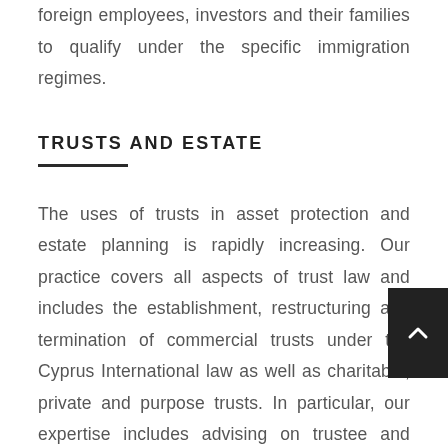foreign employees, investors and their families to qualify under the specific immigration regimes.
TRUSTS AND ESTATE
The uses of trusts in asset protection and estate planning is rapidly increasing. Our practice covers all aspects of trust law and includes the establishment, restructuring and termination of commercial trusts under the Cyprus International law as well as charitable, private and purpose trusts. In particular, our expertise includes advising on trustee and protector duties, trustee liability and trust variation as well as general asset protection